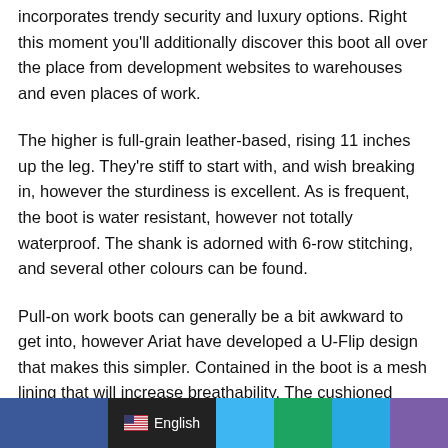incorporates trendy security and luxury options. Right this moment you'll additionally discover this boot all over the place from development websites to warehouses and even places of work.
The higher is full-grain leather-based, rising 11 inches up the leg. They're stiff to start with, and wish breaking in, however the sturdiness is excellent. As is frequent, the boot is water resistant, however not totally waterproof. The shank is adorned with 6-row stitching, and several other colours can be found.
Pull-on work boots can generally be a bit awkward to get into, however Ariat have developed a U-Flip design that makes this simpler. Contained in the boot is a mesh lining that will increase breathability. The cushioned Professional Efficiency
English